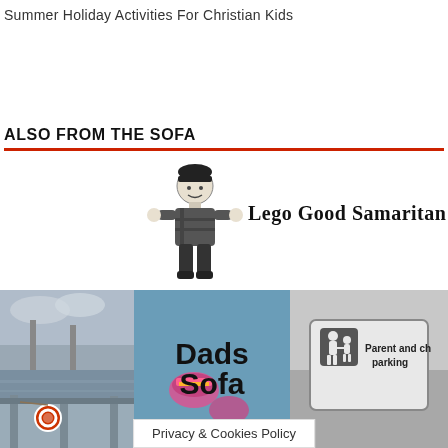Summer Holiday Activities For Christian Kids
ALSO FROM THE SOFA
[Figure (illustration): Lego minifigure character next to text reading 'Lego Good Samaritan' in a serif/display font]
[Figure (photo): Three side-by-side images: left shows a grey dock/pier scene with water and a life ring; center shows 'Dads Sofa' text overlaid on a colorful image with feet in socks; right shows a black and white 'Parent and child parking' sign]
Privacy & Cookies Policy